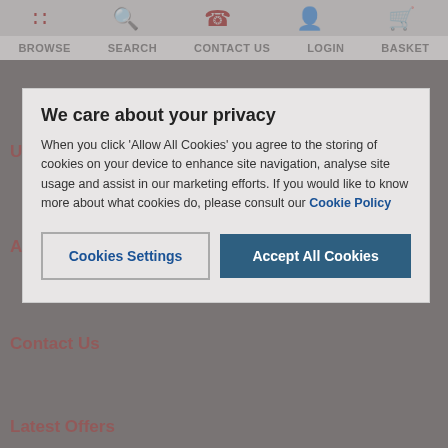BROWSE  SEARCH  CONTACT US  LOGIN  BASKET
Useful Links
About
Contact Us
Latest Offers
Returns Information
We care about your privacy
When you click 'Allow All Cookies' you agree to the storing of cookies on your device to enhance site navigation, analyse site usage and assist in our marketing efforts. If you would like to know more about what cookies do, please consult our Cookie Policy
Cookies Settings | Accept All Cookies
Central Heating Guides
Boiler Buying Guide
Heating Calculator
Radiator Finder
Boiler Spares